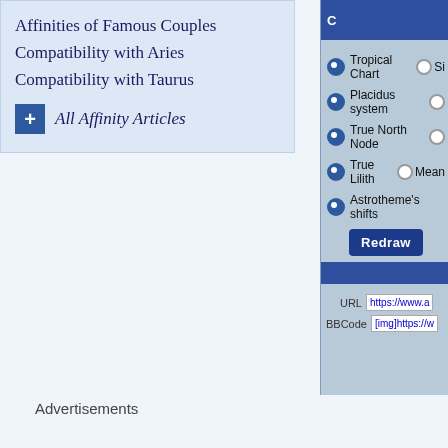Affinities of Famous Couples
Compatibility with Aries
Compatibility with Taurus
+ All Affinity Articles
Advertisements
[Figure (screenshot): Astrological chart options panel with radio buttons for Tropical Chart, Sidereal, Placidus system, True North Node, True Lilith, Mean, Astrotheme's shifts, and a Redraw button. Also shows URL and BBCode fields.]
* A planet less than 1° from the next House cusp is considered to be a member of said House. 2° when the AS and the MC are involved.
Biography of Paul Newman
Paul Leonard Newman (January 26, 1925, per birth certificate) – September 26, 2008) was an American actor, director, producer, race car driver, and philanthropist. He won and was nominated...